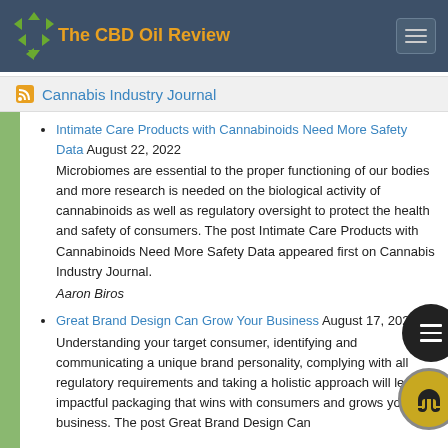The CBD Oil Review
Cannabis Industry Journal
Intimate Care Products with Cannabinoids Need More Safety Data August 22, 2022
Microbiomes are essential to the proper functioning of our bodies and more research is needed on the biological activity of cannabinoids as well as regulatory oversight to protect the health and safety of consumers. The post Intimate Care Products with Cannabinoids Need More Safety Data appeared first on Cannabis Industry Journal.
Aaron Biros
Great Brand Design Can Grow Your Business August 17, 2022
Understanding your target consumer, identifying and communicating a unique brand personality, complying with all regulatory requirements and taking a holistic approach will lead to impactful packaging that wins with consumers and grows your business. The post Great Brand Design Can